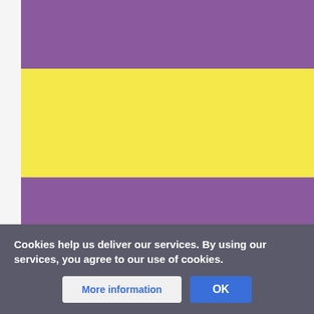[Figure (illustration): A flag-like image with horizontal stripes: purple on top, yellow in the middle, purple again, then pale yellow at the bottom. This appears to be an intersex pride flag or similar pride flag.]
Cookies help us deliver our services. By using our services, you agree to our use of cookies.
More information
OK